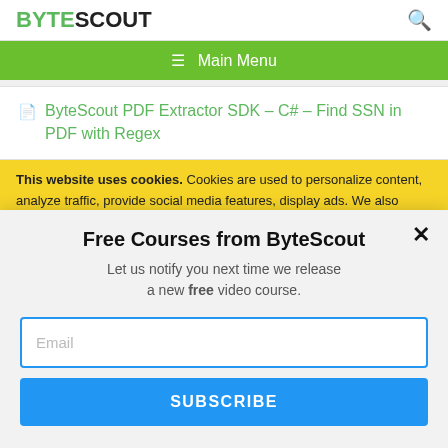BYTESCOUT
≡  Main Menu
ByteScout PDF Extractor SDK – C# – Find SSN in PDF with Regex
This website uses cookies. Cookies are used to personalize content, analyze traffic, provide social media features, display ads. We also share
Free Courses from ByteScout
Let us notify you next time we release a new free video course.
Email
SUBSCRIBE